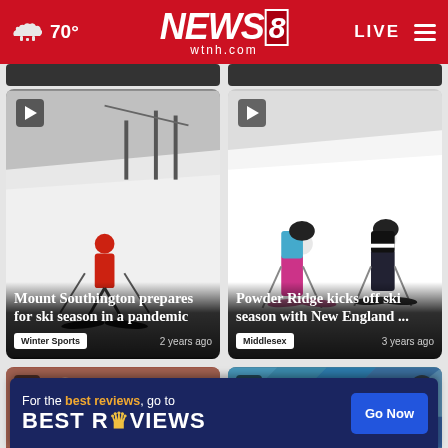70° NEWS8 wtnh.com LIVE
[Figure (screenshot): Video thumbnail: skier in red jacket on snowy slope, ski lift in background]
Mount Southington prepares for ski season in a pandemic
Winter Sports  2 years ago
[Figure (screenshot): Video thumbnail: two children skiing on a snowy slope, one in pink outfit one in black]
Powder Ridge kicks off ski season with New England ...
Middlesex  3 years ago
[Figure (photo): Partially visible video thumbnail at bottom left]
[Figure (photo): Partially visible video thumbnail at bottom right with triangle pattern and close button]
For the best reviews, go to BESTREVIEWS  Go Now